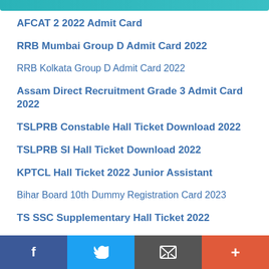AFCAT 2 2022 Admit Card
RRB Mumbai Group D Admit Card 2022
RRB Kolkata Group D Admit Card 2022
Assam Direct Recruitment Grade 3 Admit Card 2022
TSLPRB Constable Hall Ticket Download 2022
TSLPRB SI Hall Ticket Download 2022
KPTCL Hall Ticket 2022 Junior Assistant
Bihar Board 10th Dummy Registration Card 2023
TS SSC Supplementary Hall Ticket 2022
f  Twitter  Email  +